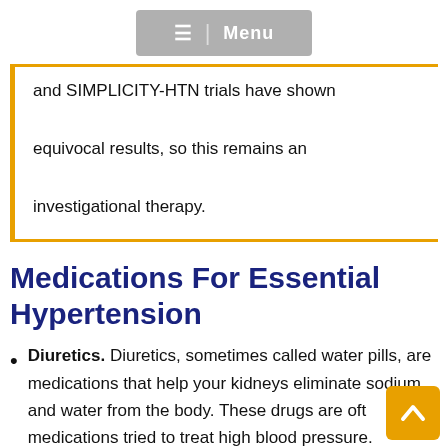≡ | Menu
and SIMPLICITY-HTN trials have shown equivocal results, so this remains an investigational therapy.
Medications For Essential Hypertension
Diuretics. Diuretics, sometimes called water pills, are medications that help your kidneys eliminate sodium and water from the body. These drugs are often the first medications tried to treat high blood pressure.